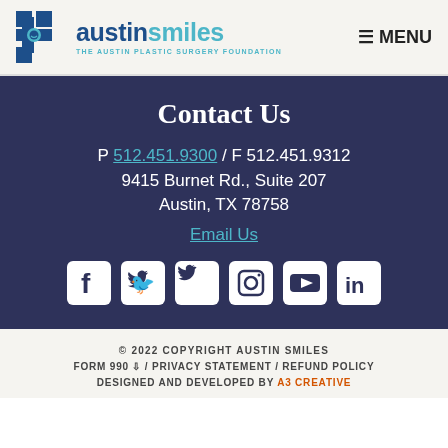[Figure (logo): Austin Smiles - The Austin Plastic Surgery Foundation logo with blue cross icon]
≡ MENU
Contact Us
P 512.451.9300 / F 512.451.9312
9415 Burnet Rd., Suite 207
Austin, TX 78758
Email Us
[Figure (infographic): Social media icons: Facebook, Twitter, Instagram, YouTube, LinkedIn]
© 2022 COPYRIGHT AUSTIN SMILES
FORM 990 ↓ / PRIVACY STATEMENT / REFUND POLICY
DESIGNED AND DEVELOPED BY A3 CREATIVE